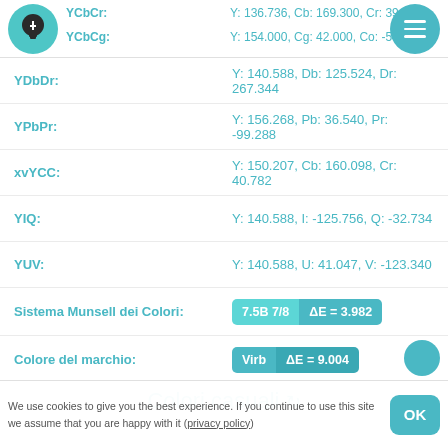YCbCr: Y: 136.736, Cb: 169.300, Cr: 39.908 | YCbCg: Y: 154.000, Cg: 42.000, Co: -56.000
YDbDr: Y: 140.588, Db: 125.524, Dr: 267.344
YPbPr: Y: 156.268, Pb: 36.540, Pr: -99.288
xvYCC: Y: 150.207, Cb: 160.098, Cr: 40.782
YIQ: Y: 140.588, I: -125.756, Q: -32.734
YUV: Y: 140.588, U: 41.047, V: -123.340
Sistema Munsell dei Colori: 7.5B 7/8 ΔE = 3.982
Colore del marchio: Virb ΔE = 9.004
Colori casuali
We use cookies to give you the best experience. If you continue to use this site we assume that you are happy with it (privacy policy) OK